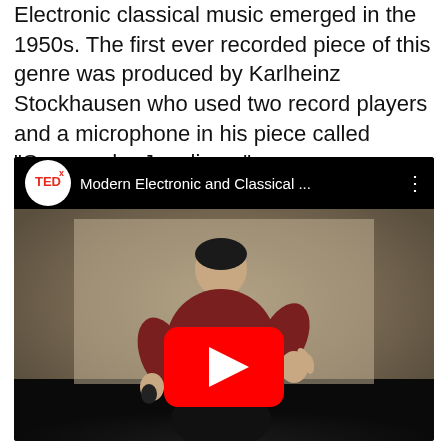Electronic classical music emerged in the 1950s. The first ever recorded piece of this genre was produced by Karlheinz Stockhausen who used two record players and a microphone in his piece called “Gesang der Junglinge.”
[Figure (screenshot): Embedded YouTube video thumbnail showing a TEDx talk titled 'Modern Electronic and Classical ...' with a speaker in a red shirt on stage gesturing, with a large red YouTube play button overlay.]